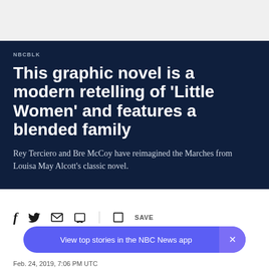NBCBLK
This graphic novel is a modern retelling of 'Little Women' and features a blended family
Rey Terciero and Bre McCoy have reimagined the Marches from Louisa May Alcott's classic novel.
View top stories in the NBC News app
Feb. 24, 2019, 7:06 PM UTC